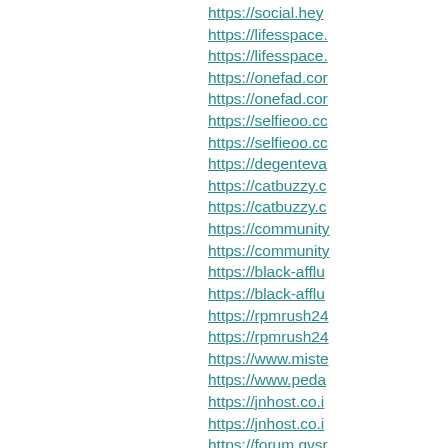https://social.hey…
https://lifesspace.…
https://lifesspace.…
https://onefad.com…
https://onefad.com…
https://selfieoo.co…
https://selfieoo.co…
https://degenteva…
https://catbuzzy.c…
https://catbuzzy.c…
https://community…
https://community…
https://black-afflu…
https://black-afflu…
https://rpmrush24…
https://rpmrush24…
https://www.miste…
https://www.peda…
https://jnhost.co.i…
https://jnhost.co.i…
https://forum.gvsr…
https://forum.gvsr…
http://for.l2enemy…
https://forum.l2si…
https://forum.eas…